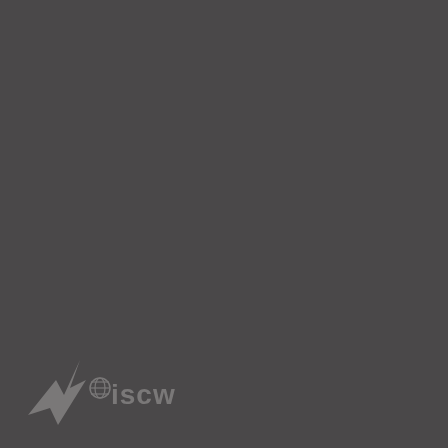[Figure (logo): MISCW company logo in light gray on dark gray background, featuring a stylized lightning bolt arrow and globe icon followed by the text 'iscw']